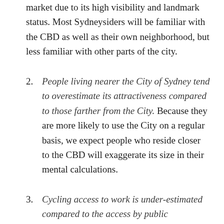market due to its high visibility and landmark status. Most Sydneysiders will be familiar with the CBD as well as their own neighborhood, but less familiar with other parts of the city.
2. People living nearer the City of Sydney tend to overestimate its attractiveness compared to those farther from the City. Because they are more likely to use the City on a regular basis, we expect people who reside closer to the CBD will exaggerate its size in their mental calculations.
3. Cycling access to work is under-estimated compared to the access by public